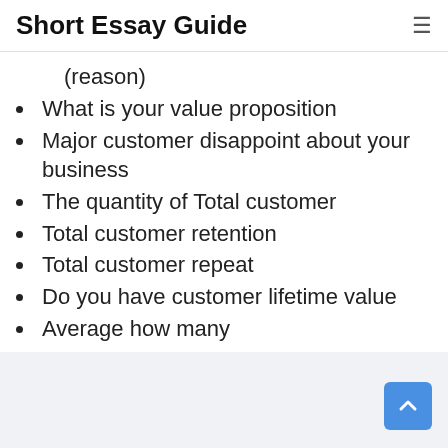Short Essay Guide
(reason)
What is your value proposition
Major customer disappoint about your business
The quantity of Total customer
Total customer retention
Total customer repeat
Do you have customer lifetime value
Average how many